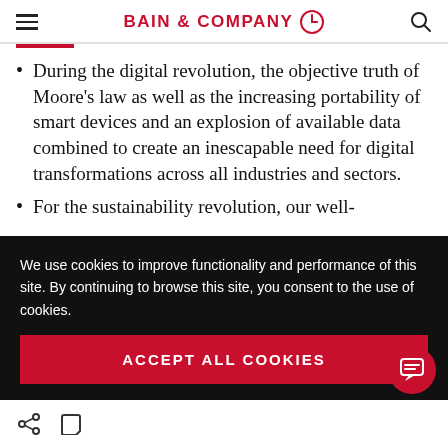BAIN & COMPANY
During the digital revolution, the objective truth of Moore's law as well as the increasing portability of smart devices and an explosion of available data combined to create an inescapable need for digital transformations across all industries and sectors.
For the sustainability revolution, our well-
We use cookies to improve functionality and performance of this site. By continuing to browse this site, you consent to the use of cookies.
ACCEPT ALL COOKIES